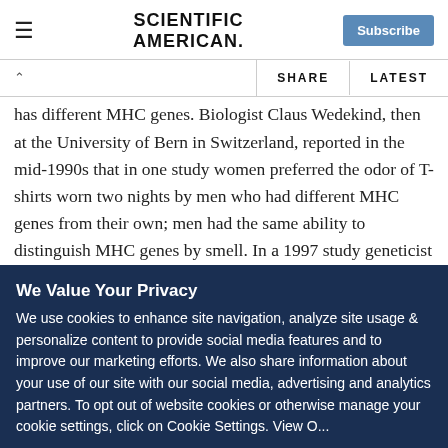SCIENTIFIC AMERICAN
has different MHC genes. Biologist Claus Wedekind, then at the University of Bern in Switzerland, reported in the mid-1990s that in one study women preferred the odor of T-shirts worn two nights by men who had different MHC genes from their own; men had the same ability to distinguish MHC genes by smell. In a 1997 study geneticist Carole Ober of the University of Chicago and her colleagues reported that people avoid mating with individuals carrying the type of MHC genes
We Value Your Privacy
We use cookies to enhance site navigation, analyze site usage & personalize content to provide social media features and to improve our marketing efforts. We also share information about your use of our site with our social media, advertising and analytics partners. To opt out of website cookies or otherwise manage your cookie settings, click on Cookie Settings. View O...